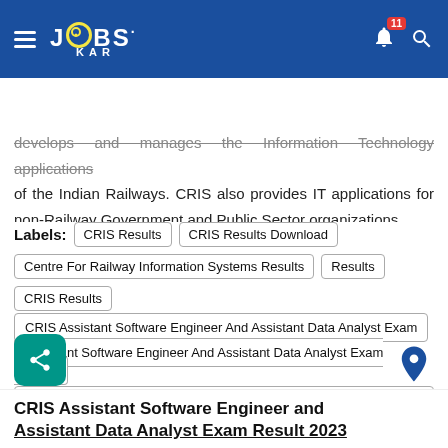[Figure (screenshot): JobsKar website header with logo, notification bell (badge: 11), and search icon on dark blue background]
Home | Govt Jobs | Today Jobs | F >
develops and manages the Information Technology applications of the Indian Railways. CRIS also provides IT applications for non-Railway Government and Public Sector organizations.
Labels: CRIS Results | CRIS Results Download | Centre For Railway Information Systems Results | Results | CRIS Results | CRIS Assistant Software Engineer And Assistant Data Analyst Exam | Assistant Software Engineer And Assistant Data Analyst Exam Results | Assistant Software Engineer And Assistant Data Analyst Exam Results Download
CRIS Assistant Software Engineer and Assistant Data Analyst Exam Result 2023